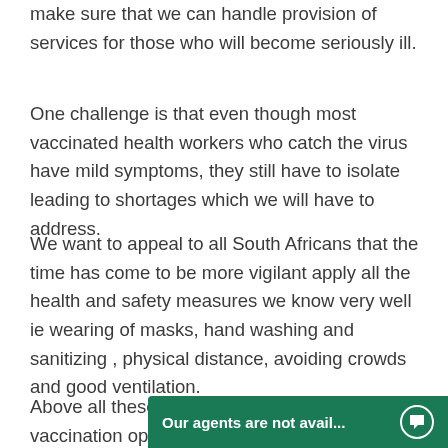make sure that we can handle provision of services for those who will become seriously ill.
One challenge is that even though most vaccinated health workers who catch the virus have mild symptoms, they still have to isolate leading to shortages which we will have to address.
We want to appeal to all South Africans that the time has come to be more vigilant apply all the health and safety measures we know very well ie wearing of masks, hand washing and sanitizing , physical distance, avoiding crowds and good ventilation.
Above all these let u... vaccination opportu...
[Figure (other): Chat widget overlay with green background reading 'Our agents are not avail...' with a chat bubble icon]